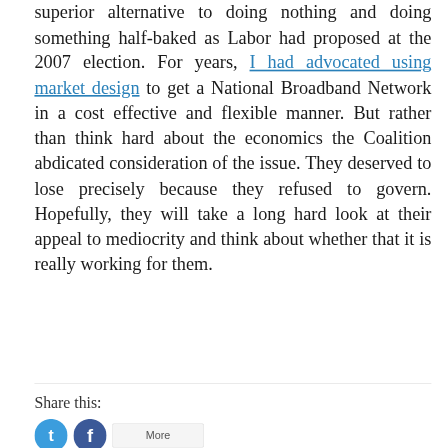superior alternative to doing nothing and doing something half-baked as Labor had proposed at the 2007 election. For years, I had advocated using market design to get a National Broadband Network in a cost effective and flexible manner. But rather than think hard about the economics the Coalition abdicated consideration of the issue. They deserved to lose precisely because they refused to govern. Hopefully, they will take a long hard look at their appeal to mediocrity and think about whether that it is really working for them.
Share this: